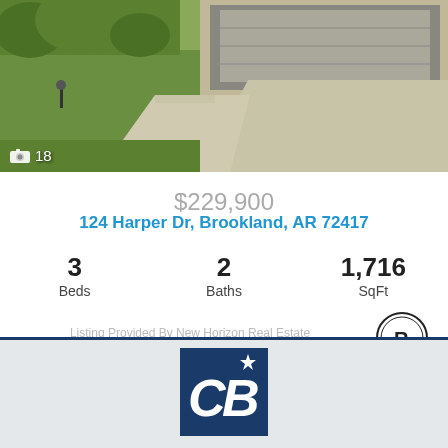[Figure (photo): Exterior photo of a house with green lawn and garage, showing driveway. Photo counter showing camera icon and 18 photos.]
$229,900
124 Harper Dr, Brookland, AR 72417
| 3 Beds | 2 Baths | 1,716 SqFt |
Listing Provided By New Horizon Real Estate
1  2  3  Next
[Figure (logo): Coldwell Banker CB logo in dark navy blue square with white star and letters CB]